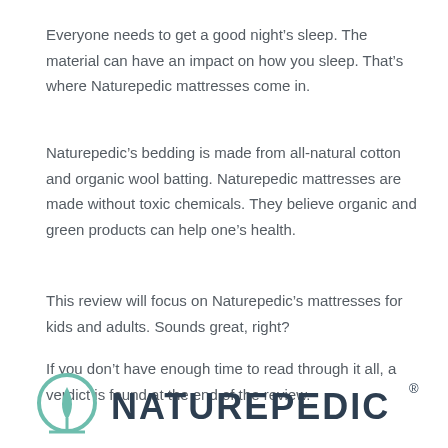Everyone needs to get a good night's sleep. The material can have an impact on how you sleep. That's where Naturepedic mattresses come in.
Naturepedic's bedding is made from all-natural cotton and organic wool batting. Naturepedic mattresses are made without toxic chemicals. They believe organic and green products can help one's health.
This review will focus on Naturepedic's mattresses for kids and adults. Sounds great, right?
If you don't have enough time to read through it all, a verdict is found at the end of the review.
[Figure (logo): Naturepedic logo with a circular leaf/plant icon in teal and the wordmark NATUREPEDIC in dark navy letters with a registered trademark symbol]